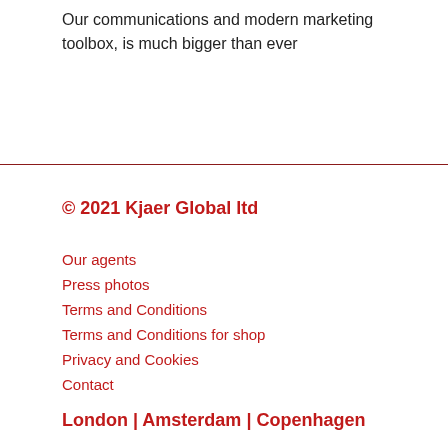Our communications and modern marketing toolbox, is much bigger than ever
© 2021 Kjaer Global ltd
Our agents
Press photos
Terms and Conditions
Terms and Conditions for shop
Privacy and Cookies
Contact
London | Amsterdam | Copenhagen